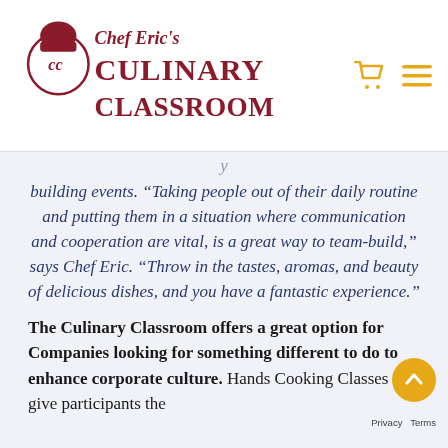Chef Eric's Culinary Classroom
building events. “Taking people out of their daily routine and putting them in a situation where communication and cooperation are vital, is a great way to team-build,” says Chef Eric. “Throw in the tastes, aromas, and beauty of delicious dishes, and you have a fantastic experience.”
The Culinary Classroom offers a great option for Companies looking for something different to do to enhance corporate culture. Hands Cooking Classes give participants the